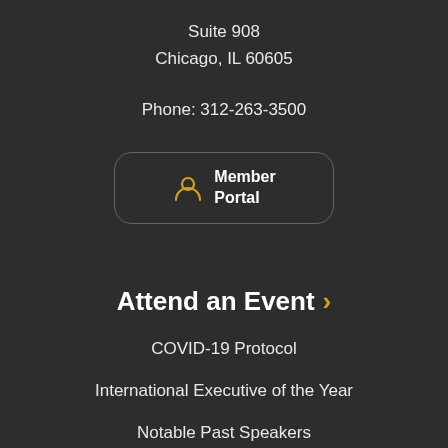Suite 908
Chicago, IL 60605
Phone: 312-263-3500
[Figure (other): Member Portal button with person icon in a rounded rectangle border]
Attend an Event ›
COVID-19 Protocol
International Executive of the Year
Notable Past Speakers